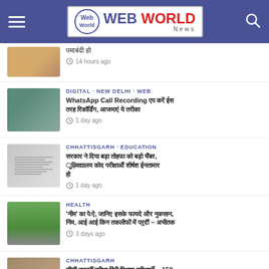Web World News
[Hindi text] · 14 hours ago
DIGITAL · NEW DELHI · WEB | WhatsApp Call Recording [Hindi text] · 1 day ago
CHHATTISGARH · EDUCATION | [Hindi text] · 1 day ago
HEALTH | 'नीम' का पेड़, जानिए इसके फायदे... · 3 days ago
CHHATTISGARH | [Hindi text]